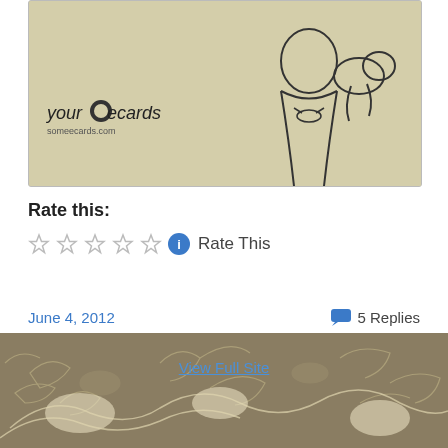[Figure (illustration): Someecards.com ecard image showing vintage black and white illustration of a girl hugging a dog, with 'your ecards someecards.com' logo on a tan/beige background]
Rate this:
[Figure (other): Five empty star rating widget with blue info button and 'Rate This' text]
June 4, 2012
5 Replies
View Full Site
[Figure (illustration): Decorative footer background with tan/brown color and white vintage ornamental flourish patterns with birds and scrollwork]